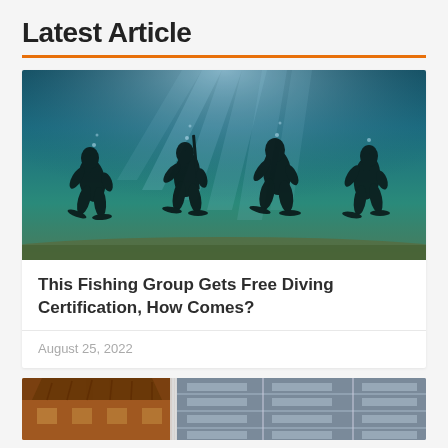Latest Article
[Figure (photo): Underwater photo of four scuba divers silhouetted against light filtering through water from above, with a sandy ocean floor below.]
This Fishing Group Gets Free Diving Certification, How Comes?
August 25, 2022
[Figure (photo): Partial view of a building exterior with thatched/traditional roof elements and modern structure, cut off at bottom of page.]